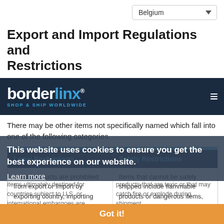Belgium
Export and Import Regulations and Restrictions
[Figure (logo): Borderlinx logo with tagline SHOP & SHIP WORLDWIDE on dark navy background with hamburger menu icon]
There may be other items not specifically named which fall into one of the following categories.
| Legal Restrictions | Safety Restrictions |
| --- | --- |
| Some products are prohibited from export or import by exporting country, importing country or transportation regulations. In addition, items ultimately destined for countries subject to U.S. or international embargoes are | Items that cannot be safely shipped include flammable products or dangerous items, e.g., products that are toxic or that may catch fire or explode during shipment |
This website uses cookies to ensure you get the best experience on our website.
Learn more
Got it!